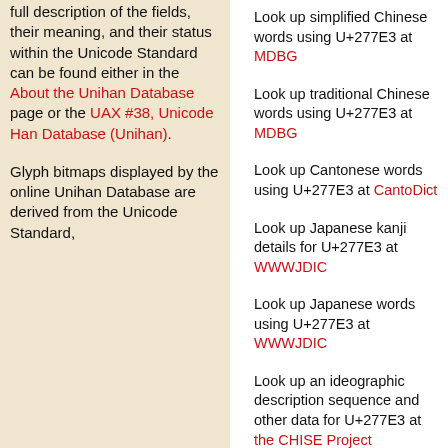full description of the fields, their meaning, and their status within the Unicode Standard can be found either in the About the Unihan Database page or the UAX #38, Unicode Han Database (Unihan).
Glyph bitmaps displayed by the online Unihan Database are derived from the Unicode Standard,
Look up simplified Chinese words using U+277E3 at MDBG
Look up traditional Chinese words using U+277E3 at MDBG
Look up Cantonese words using U+277E3 at CantoDict
Look up Japanese kanji details for U+277E3 at WWWJDIC
Look up Japanese words using U+277E3 at WWWJDIC
Look up an ideographic description sequence and other data for U+277E3 at the CHISE Project
Look up data on U+277E3 at GlyphWiki
© 1991–2022 Unicode, Inc. All Rights Reserved.